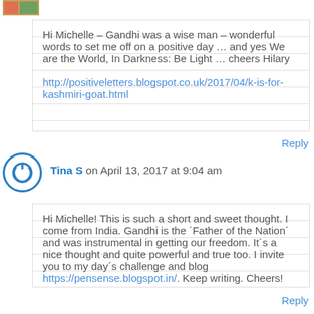[Figure (photo): Small avatar thumbnail image of a user at top left]
Hi Michelle – Gandhi was a wise man – wonderful words to set me off on a positive day … and yes We are the World, In Darkness: Be Light … cheers Hilary
http://positiveletters.blogspot.co.uk/2017/04/k-is-for-kashmiri-goat.html
Reply
Tina S on April 13, 2017 at 9:04 am
Hi Michelle! This is such a short and sweet thought. I come from India. Gandhi is the ´Father of the Nation´ and was instrumental in getting our freedom. It´s a nice thought and quite powerful and true too. I invite you to my day´s challenge and blog https://pensense.blogspot.in/. Keep writing. Cheers!
Reply